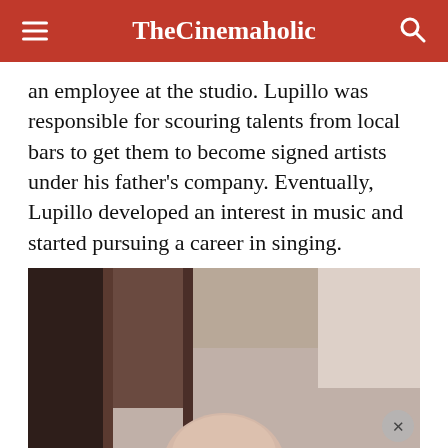TheCinemaholic
an employee at the studio. Lupillo was responsible for scouring talents from local bars to get them to become signed artists under his father’s company. Eventually, Lupillo developed an interest in music and started pursuing a career in singing.
[Figure (photo): Partial photo of a man (appears to be bald) in a dark interior setting, possibly a vehicle or studio. The image is partially cut off at the bottom of the visible area. A close/dismiss button (X) is visible in the lower right of the image.]